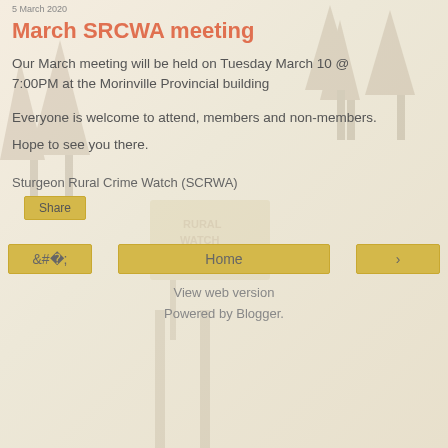5 March 2020
March SRCWA meeting
Our March meeting will be held on Tuesday March 10 @ 7:00PM at the Morinville Provincial building
Everyone is welcome to attend, members and non-members.
Hope to see you there.
Sturgeon Rural Crime Watch (SCRWA)
Share
View web version
Powered by Blogger.